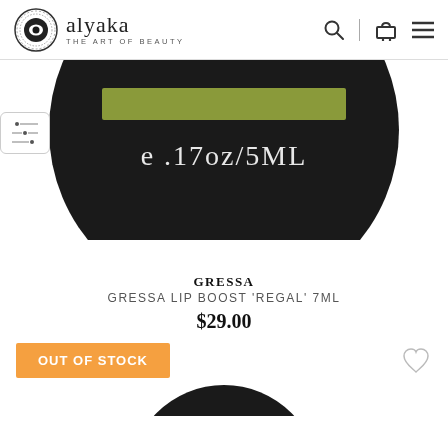alyaka THE ART OF BEAUTY
[Figure (photo): Bottom half of a round black compact/container showing a green stripe label and text 'e .17oz/5ML' in white on black background]
GRESSA
GRESSA LIP BOOST 'REGAL' 7ML
$29.00
OUT OF STOCK
[Figure (photo): Top portion of another round black compact product container, partially visible at bottom of page]